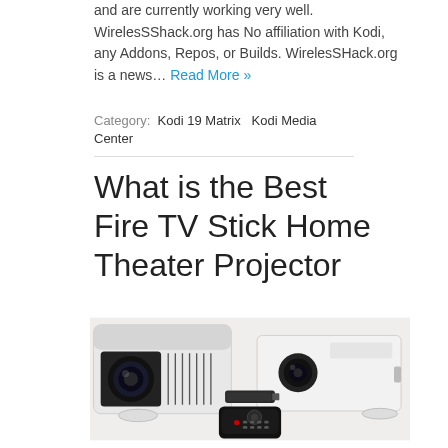and are currently working very well.  WirelessShack.org has No affiliation with Kodi, any Addons, Repos, or Builds. WirelesSHack.org is a news… Read More »
Category:  Kodi 19 Matrix  Kodi Media Center
What is the Best Fire TV Stick Home Theater Projector
[Figure (photo): Two white home theater projectors side by side on a white surface, with a Fire TV Stick dongle in the center and a black remote control in the foreground.]